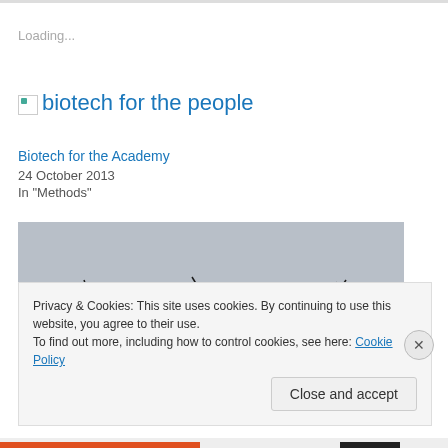Loading...
biotech for the people
Biotech for the Academy
24 October 2013
In "Methods"
[Figure (photo): Bare silhouetted tree branches against a grey overcast sky]
Privacy & Cookies: This site uses cookies. By continuing to use this website, you agree to their use.
To find out more, including how to control cookies, see here: Cookie Policy
Close and accept